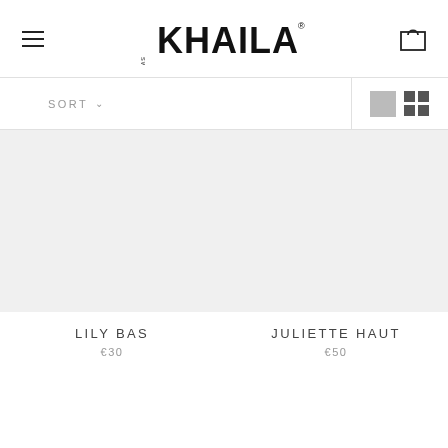KHAILA SWIMWEAR
SORT
LILY BAS €30
JULIETTE HAUT €50